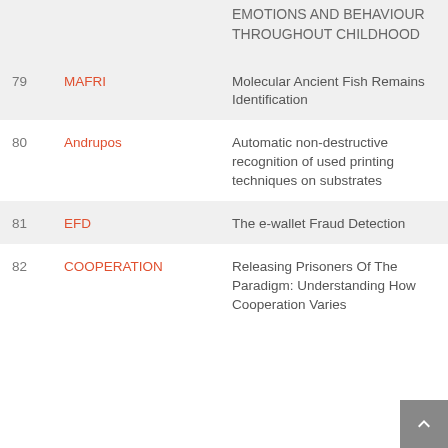| # | Acronym | Title |
| --- | --- | --- |
|  |  | EMOTIONS AND BEHAVIOUR THROUGHOUT CHILDHOOD |
| 79 | MAFRI | Molecular Ancient Fish Remains Identification |
| 80 | Andrupos | Automatic non-destructive recognition of used printing techniques on substrates |
| 81 | EFD | The e-wallet Fraud Detection |
| 82 | COOPERATION | Releasing Prisoners Of The Paradigm: Understanding How Cooperation Varies |